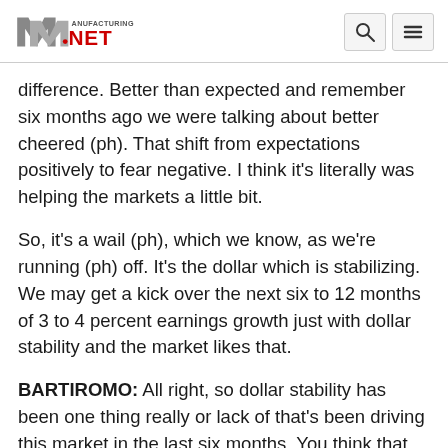Manufacturing.Net
difference. Better than expected and remember six months ago we were talking about better cheered (ph). That shift from expectations positively to fear negative. I think it's literally was helping the markets a little bit.
So, it's a wail (ph), which we know, as we're running (ph) off. It's the dollar which is stabilizing. We may get a kick over the next six to 12 months of 3 to 4 percent earnings growth just with dollar stability and the market likes that.
BARTIROMO: All right, so dollar stability has been one thing really or lack of that's been driving this market in the last six months. You think that